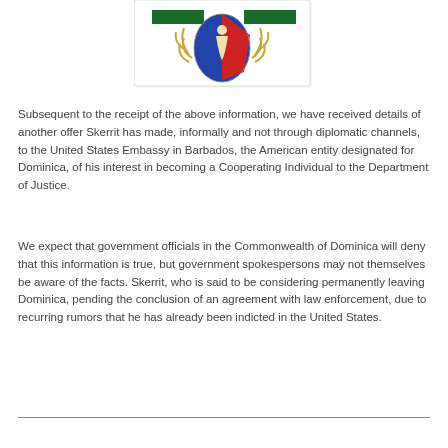[Figure (logo): Government or military emblem/coat of arms with green bars, blue and red shield with a figure, and gold laurel branches on either side, on a white rectangular background]
Subsequent to the receipt of the above information, we have received details of another offer Skerrit has made, informally and not through diplomatic channels, to the United States Embassy in Barbados, the American entity designated for Dominica, of his interest in becoming a Cooperating Individual to the Department of Justice.
We expect that government officials in the Commonwealth of Dominica will deny that this information is true, but government spokespersons may not themselves be aware of the facts. Skerrit, who is said to be considering permanently leaving Dominica, pending the conclusion of an agreement with law enforcement, due to recurring rumors that he has already been indicted in the United States.